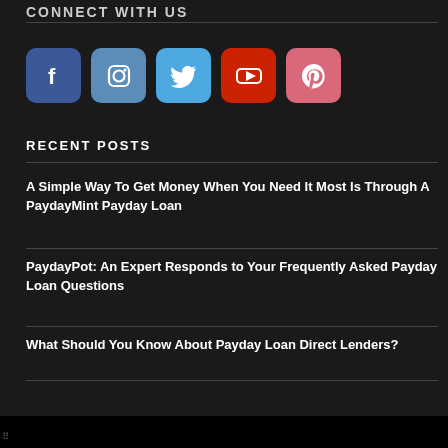CONNECT WITH US
[Figure (illustration): Five social media icon buttons: Facebook (dark blue), Instagram (steel blue), Twitter (light blue), YouTube (red), Pinterest (pink/rose)]
RECENT POSTS
A Simple Way To Get Money When You Need It Most Is Through A PaydayMint Payday Loan
PaydayPot: An Expert Responds to Your Frequently Asked Payday Loan Questions
What Should You Know About Payday Loan Direct Lenders?